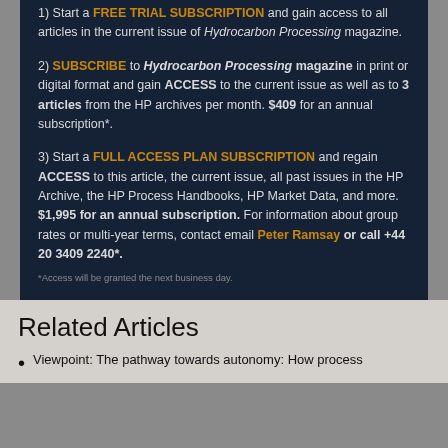1) Start a FREE TRIAL SUBSCRIPTION and gain access to all articles in the current issue of Hydrocarbon Processing magazine.
2) SUBSCRIBE to Hydrocarbon Processing magazine in print or digital format and gain ACCESS to the current issue as well as to 3 articles from the HP archives per month. $409 for an annual subscription*.
3) Start a FULL ACCESS PLAN SUBSCRIPTION and regain ACCESS to this article, the current issue, all past issues in the HP Archive, the HP Process Handbooks, HP Market Data, and more. $1,995 for an annual subscription. For information about group rates or multi-year terms, contact email Peter Ramsay or call +44 20 3409 2240*.
*Access will be granted the next business day.
Related Articles
Viewpoint: The pathway towards autonomy: How process